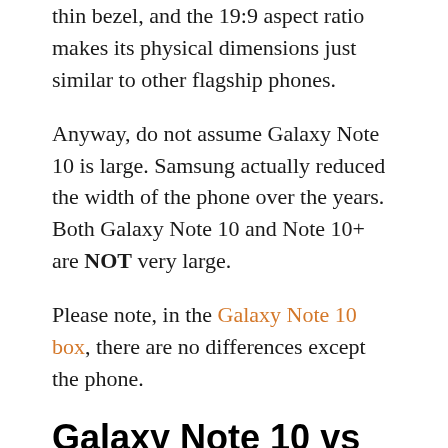thin bezel, and the 19:9 aspect ratio makes its physical dimensions just similar to other flagship phones.
Anyway, do not assume Galaxy Note 10 is large. Samsung actually reduced the width of the phone over the years. Both Galaxy Note 10 and Note 10+ are NOT very large.
Please note, in the Galaxy Note 10 box, there are no differences except the phone.
Galaxy Note 10 vs Galaxy Note 10+: Screen size and resolution
Both Galaxy Note 10 and 10+ use the top-tier